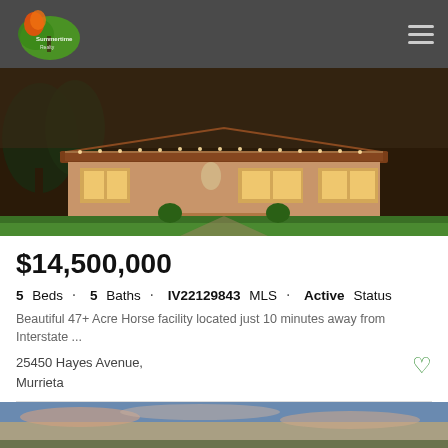Summertime Realty logo and navigation
[Figure (photo): Exterior photo of a single-story ranch-style home with red tile roof, warm evening lighting, and green lawn in the foreground]
$14,500,000
5 Beds · 5 Baths · IV22129843 MLS · Active Status
Beautiful 47+ Acre Horse facility located just 10 minutes away from Interstate ...
25450 Hayes Avenue,
Murrieta
Listing courtesy of Listing Agent: JULIANNE FARMER from Listing Office: KELLER WILLIAMS REALTY NORCO
[Figure (photo): Partial bottom strip of another property photo showing sky at dusk with pink and blue clouds]